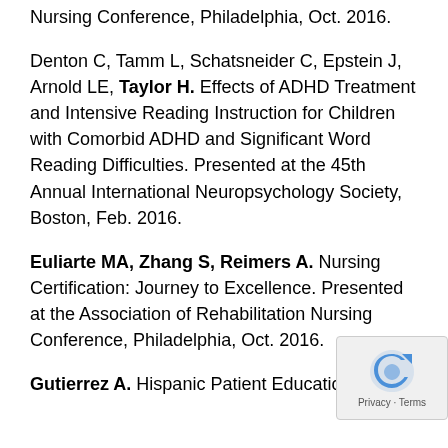Presented at the Association of Rehabilitation Nursing Conference, Philadelphia, Oct. 2016.
Denton C, Tamm L, Schatsneider C, Epstein J, Arnold LE, Taylor H. Effects of ADHD Treatment and Intensive Reading Instruction for Children with Comorbid ADHD and Significant Word Reading Difficulties. Presented at the 45th Annual International Neuropsychology Society, Boston, Feb. 2016.
Euliarte MA, Zhang S, Reimers A. Nursing Certification: Journey to Excellence. Presented at the Association of Rehabilitation Nursing Conference, Philadelphia, Oct. 2016.
Gutierrez A. Hispanic Patient Education: